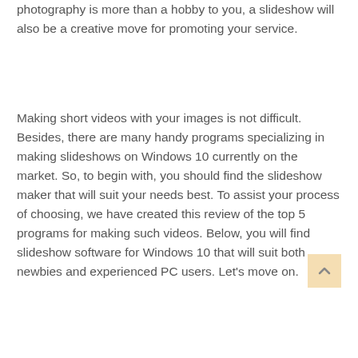photography is more than a hobby to you, a slideshow will also be a creative move for promoting your service.
Making short videos with your images is not difficult. Besides, there are many handy programs specializing in making slideshows on Windows 10 currently on the market. So, to begin with, you should find the slideshow maker that will suit your needs best. To assist your process of choosing, we have created this review of the top 5 programs for making such videos. Below, you will find slideshow software for Windows 10 that will suit both newbies and experienced PC users. Let's move on.